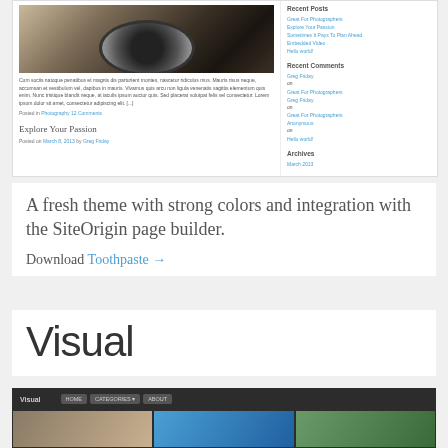[Figure (screenshot): Screenshot of a photography blog showing a camera image, blog post text, sidebar with recent posts, comments, archives and categories]
A fresh theme with strong colors and integration with the SiteOrigin page builder.
Download Toothpaste →
Visual
[Figure (screenshot): Bottom preview of the Visual theme showing dark navigation bar with Visual logo and nav buttons, and image thumbnails below]